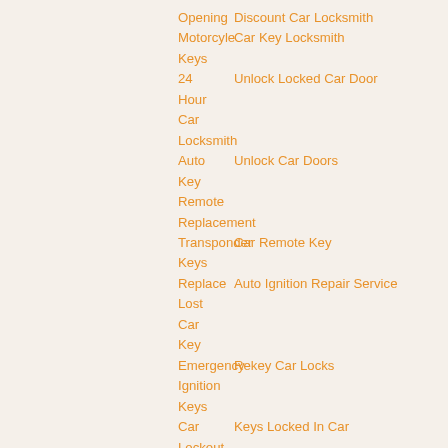Opening | Discount Car Locksmith
Motorcyle Keys | Car Key Locksmith
24 Hour Car Locksmith | Unlock Locked Car Door
Auto Key Remote Replacement | Unlock Car Doors
Transponder Keys | Car Remote Key
Replace Lost Car Key | Auto Ignition Repair Service
Emergency Ignition Keys | Rekey Car Locks
Car Lockout Service | Keys Locked In Car
Transponder Chips | Cheap Auto Locksmith
Ignition Lock Repair | Chip Car Keys
Ignition Locks | Auto Keys Locksmith Service
Car Lock Smith | Car Replacement Keys
Cheap Car Locksmith | Rekeying Car Keys
Discount Auto Locksmith | Lost Keys To Car
Unlock Car Door | Car Locksmith Coupon
Car Key Cutting | Transponder Chip Key
Damaged Lock Repair | Keys Made
Car Key Duplication | Key Cutting Service
Car Locksmith Prices | Auto Locksmith Near Me
Auto Key Cutting | Best Prices Car Locksmith